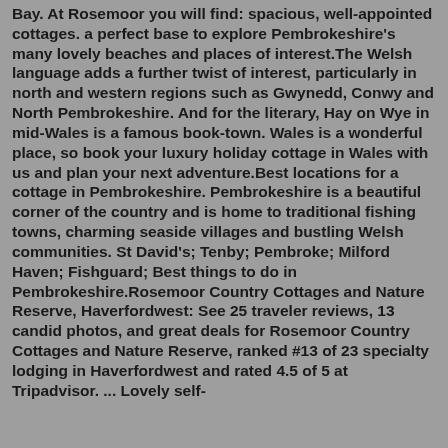Bay. At Rosemoor you will find: spacious, well-appointed cottages. a perfect base to explore Pembrokeshire's many lovely beaches and places of interest.The Welsh language adds a further twist of interest, particularly in north and western regions such as Gwynedd, Conwy and North Pembrokeshire. And for the literary, Hay on Wye in mid-Wales is a famous book-town. Wales is a wonderful place, so book your luxury holiday cottage in Wales with us and plan your next adventure.Best locations for a cottage in Pembrokeshire. Pembrokeshire is a beautiful corner of the country and is home to traditional fishing towns, charming seaside villages and bustling Welsh communities. St David's; Tenby; Pembroke; Milford Haven; Fishguard; Best things to do in Pembrokeshire.Rosemoor Country Cottages and Nature Reserve, Haverfordwest: See 25 traveler reviews, 13 candid photos, and great deals for Rosemoor Country Cottages and Nature Reserve, ranked #13 of 23 specialty lodging in Haverfordwest and rated 4.5 of 5 at Tripadvisor. ... Lovely self-